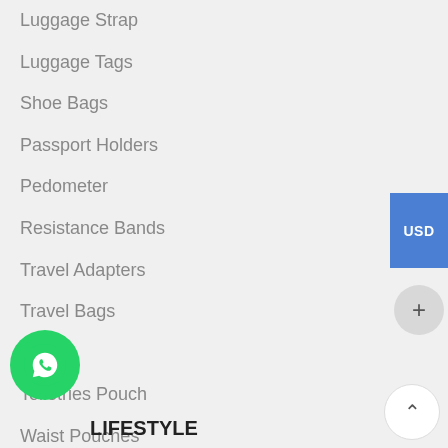Luggage Strap
Luggage Tags
Shoe Bags
Passport Holders
Pedometer
Resistance Bands
Travel Adapters
Travel Bags
Towels
Toiletries Pouch
Waist Pouches
Waterproof Bags
LIFESTYLE